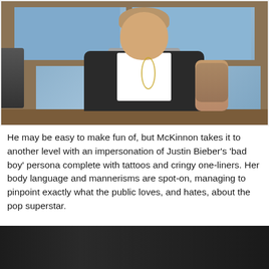[Figure (photo): A person dressed as Justin Bieber with tattoos on their arm, wearing a black leather vest over a gray hoodie and white shirt, with a chain necklace, leaning forward slightly and smiling. They are seated at a brown desk/table in front of a blue paneled wall with wooden shelving. Another person is partially visible on the left side.]
He may be easy to make fun of, but McKinnon takes it to another level with an impersonation of Justin Bieber’s ‘bad boy’ persona complete with tattoos and cringy one-liners. Her body language and mannerisms are spot-on, managing to pinpoint exactly what the public loves, and hates, about the pop superstar.
[Figure (photo): Partially visible dark/black image at the bottom of the page, likely another video frame or photo with very dark exposure.]